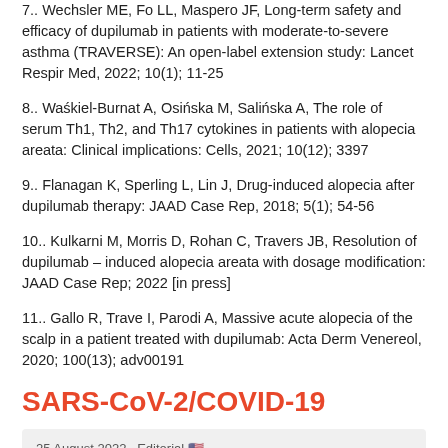7.. Wechsler ME, Fo LL, Maspero JF, Long-term safety and efficacy of dupilumab in patients with moderate-to-severe asthma (TRAVERSE): An open-label extension study: Lancet Respir Med, 2022; 10(1); 11-25
8.. Waśkiel-Burnat A, Osińska M, Salińska A, The role of serum Th1, Th2, and Th17 cytokines in patients with alopecia areata: Clinical implications: Cells, 2021; 10(12); 3397
9.. Flanagan K, Sperling L, Lin J, Drug-induced alopecia after dupilumab therapy: JAAD Case Rep, 2018; 5(1); 54-56
10.. Kulkarni M, Morris D, Rohan C, Travers JB, Resolution of dupilumab – induced alopecia areata with dosage modification: JAAD Case Rep; 2022 [in press]
11.. Gallo R, Trave I, Parodi A, Massive acute alopecia of the scalp in a patient treated with dupilumab: Acta Derm Venereol, 2020; 100(13); adv00191
SARS-CoV-2/COVID-19
25 August 2022 · Editorial